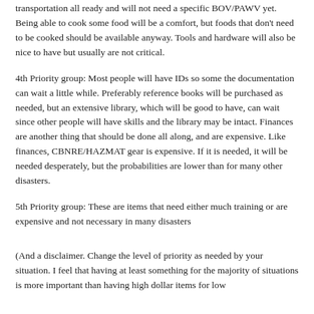transportation all ready and will not need a specific BOV/PAWV yet. Being able to cook some food will be a comfort, but foods that don't need to be cooked should be available anyway. Tools and hardware will also be nice to have but usually are not critical.
4th Priority group: Most people will have IDs so some the documentation can wait a little while. Preferably reference books will be purchased as needed, but an extensive library, which will be good to have, can wait since other people will have skills and the library may be intact. Finances are another thing that should be done all along, and are expensive. Like finances, CBNRE/HAZMAT gear is expensive. If it is needed, it will be needed desperately, but the probabilities are lower than for many other disasters.
5th Priority group: These are items that need either much training or are expensive and not necessary in many disasters
(And a disclaimer. Change the level of priority as needed by your situation. I feel that having at least something for the majority of situations is more important than having high dollar items for low